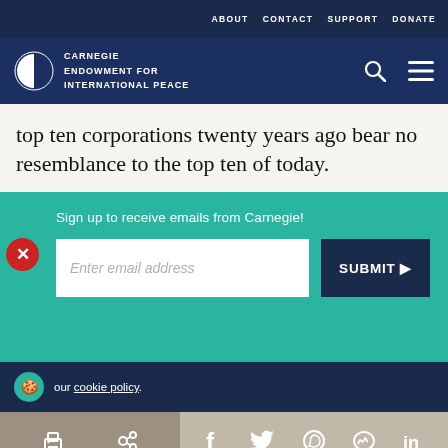ABOUT   CONTACT   SUPPORT   DONATE
[Figure (logo): Carnegie Endowment for International Peace logo with circular icon and white text]
top ten corporations twenty years ago bear no resemblance to the top ten of today.
Sign up to receive emails from Carnegie!
Enter email address
SUBMIT ▶
our cookie policy.
Social share icons: print, link, facebook, twitter, whatsapp, messenger, linkedin